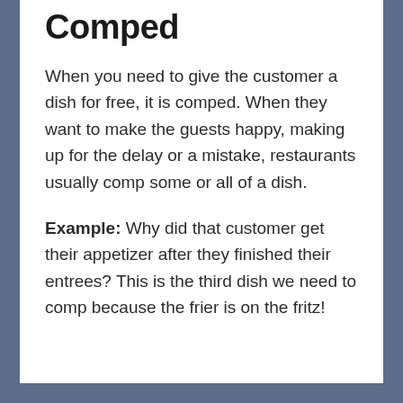Comped
When you need to give the customer a dish for free, it is comped. When they want to make the guests happy, making up for the delay or a mistake, restaurants usually comp some or all of a dish.
Example: Why did that customer get their appetizer after they finished their entrees? This is the third dish we need to comp because the frier is on the fritz!